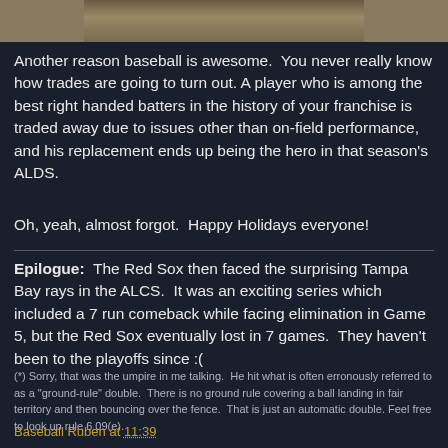[Figure (photo): Partial photo showing a person in white clothing against a brown/dirt background, cropped at top of page]
Another reason baseball is awesome.  You never really know how trades are going to turn out. A player who is among the best right handed batters in the history of your franchise is traded away due to issues other than on-field performance, and his replacement ends up being the hero in that season's ALDS.
Oh, yeah, almost forgot.  Happy Holidays everyone!
Epilogue:  The Red Sox then faced the surprising Tampa Bay rays in the ALCS.  It was an exciting series which included a 7 run comeback while facing elimination in Game 5, but the Red Sox eventually lost in 7 games.  They haven't been to the playoffs since :(
(*) Sorry, that was the umpire in me talking.  He hit what is often erronously referred to as a "ground-rule" double.  There is no ground rule covering a ball landing in fair territory and then bouncing over the fence.  That is just an automatic double. Feel free to look up rule 6.09(e).
Baseball Ruben at 11:39